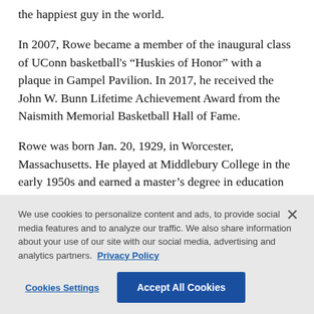the happiest guy in the world.
In 2007, Rowe became a member of the inaugural class of UConn basketball's “Huskies of Honor” with a plaque in Gampel Pavilion. In 2017, he received the John W. Bunn Lifetime Achievement Award from the Naismith Memorial Basketball Hall of Fame.
Rowe was born Jan. 20, 1929, in Worcester, Massachusetts. He played at Middlebury College in the early 1950s and earned a master’s degree in education from Boston University in 1953.
We use cookies to personalize content and ads, to provide social media features and to analyze our traffic. We also share information about your use of our site with our social media, advertising and analytics partners. Privacy Policy
Cookies Settings
Accept All Cookies